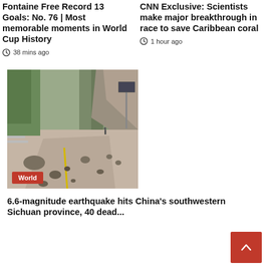Fontaine Free Record 13 Goals: No. 76 | Most memorable moments in World Cup History
38 mins ago
CNN Exclusive: Scientists make major breakthrough in race to save Caribbean coral
1 hour ago
[Figure (photo): Road damaged by 6.6-magnitude earthquake in China's southwestern Sichuan province, with rocks and debris scattered across the road surface. Mountains visible in background. Red 'World' badge overlay.]
6.6-magnitude earthquake hits China's southwestern Sichuan province, 40 dead...